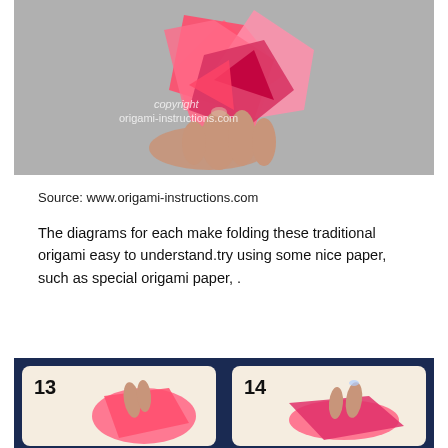[Figure (photo): A hand holding a pink origami flower against a gray background. Watermark text reads 'copyright origami-instructions.com']
Source: www.origami-instructions.com
The diagrams for each make folding these traditional origami easy to understand.try using some nice paper, such as special origami paper, .
[Figure (photo): Two-panel origami instruction image on dark navy background showing steps 13 and 14 with pink paper origami folding on cream/beige cards]